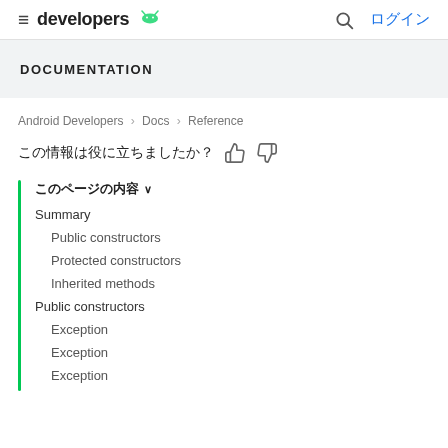developers  ログイン
DOCUMENTATION
Android Developers > Docs > Reference
この情報は役に立ちましたか？
このページの内容 ∨
Summary
Public constructors
Protected constructors
Inherited methods
Public constructors
Exception
Exception
Exception